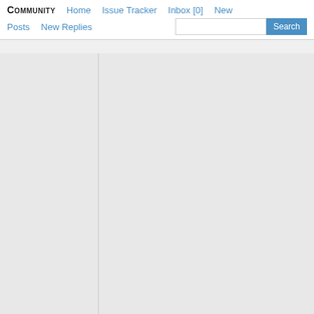Community  Home  Issue Tracker  Inbox [0]  New  Posts  New Replies  Search
bump this thread one last time, I'm not finding any solutions and the answers provided by merrak did